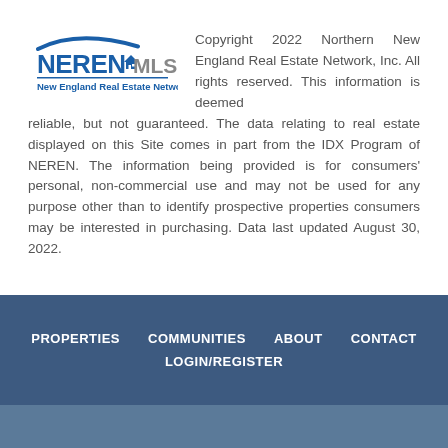[Figure (logo): NEREN MLS - New England Real Estate Network logo with stylized swoosh and house icon]
Copyright 2022 Northern New England Real Estate Network, Inc. All rights reserved. This information is deemed reliable, but not guaranteed. The data relating to real estate displayed on this Site comes in part from the IDX Program of NEREN. The information being provided is for consumers' personal, non-commercial use and may not be used for any purpose other than to identify prospective properties consumers may be interested in purchasing. Data last updated August 30, 2022.
PROPERTIES   COMMUNITIES   ABOUT   CONTACT   LOGIN/REGISTER